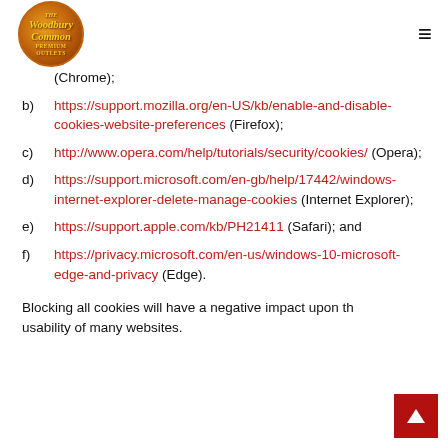Woodbury Common (logo) navigation menu
(Chrome);
b) https://support.mozilla.org/en-US/kb/enable-and-disable-cookies-website-preferences (Firefox);
c) http://www.opera.com/help/tutorials/security/cookies/ (Opera);
d) https://support.microsoft.com/en-gb/help/17442/windows-internet-explorer-delete-manage-cookies (Internet Explorer);
e) https://support.apple.com/kb/PH21411 (Safari); and
f) https://privacy.microsoft.com/en-us/windows-10-microsoft-edge-and-privacy (Edge).
Blocking all cookies will have a negative impact upon the usability of many websites.